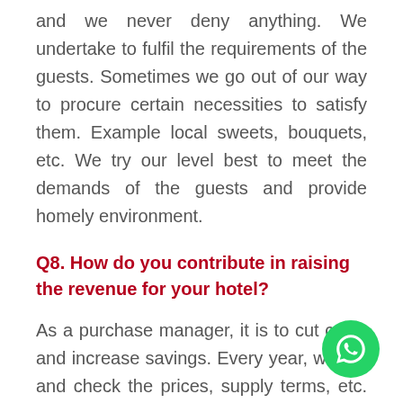and we never deny anything. We undertake to fulfil the requirements of the guests. Sometimes we go out of our way to procure certain necessities to satisfy them. Example local sweets, bouquets, etc. We try our level best to meet the demands of the guests and provide homely environment.
Q8. How do you contribute in raising the revenue for your hotel?
As a purchase manager, it is to cut costs and increase savings. Every year, we rev and check the prices, supply terms, etc. the different vendors. Then decisions are